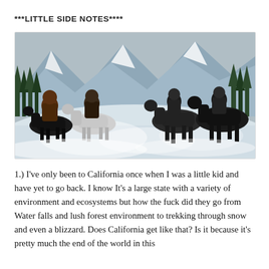***LITTLE SIDE NOTES****
[Figure (photo): Scene from War for the Planet of the Apes showing apes riding horses through a snowy landscape with mountains and trees in the background.]
1.) I've only been to California once when I was a little kid and have yet to go back. I know It's a large state with a variety of environment and ecosystems but how the fuck did they go from Water falls and lush forest environment to trekking through snow and even a blizzard. Does California get like that? Is it because it's pretty much the end of the world in this